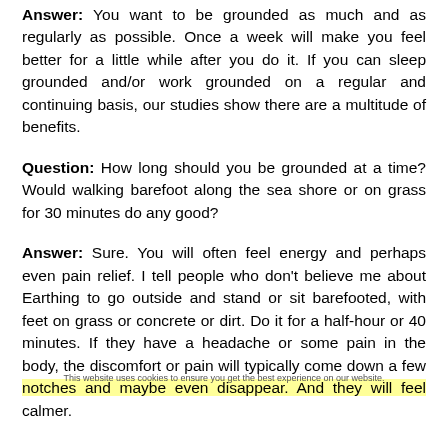Answer: You want to be grounded as much and as regularly as possible. Once a week will make you feel better for a little while after you do it. If you can sleep grounded and/or work grounded on a regular and continuing basis, our studies show there are a multitude of benefits.
Question: How long should you be grounded at a time? Would walking barefoot along the sea shore or on grass for 30 minutes do any good?
Answer: Sure. You will often feel energy and perhaps even pain relief. I tell people who don't believe me about Earthing to go outside and stand or sit barefooted, with feet on grass or concrete or dirt. Do it for a half-hour or 40 minutes. If they have a headache or some pain in the body, the discomfort or pain will typically come down a few notches and maybe even disappear. And they will feel calmer.
This website uses cookies to ensure you get the best experience on our website.